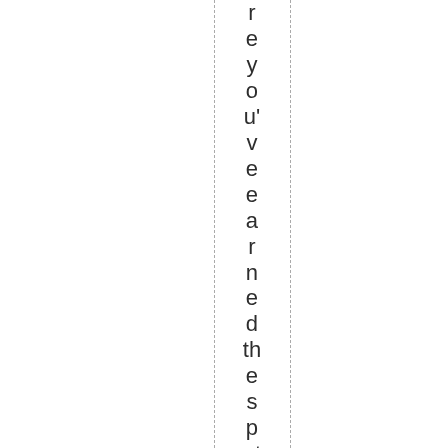r
e
y
o
u'
v
e
e
a
r
n
e
d
th
e
s
p
ot
.
T
h
e
T
e